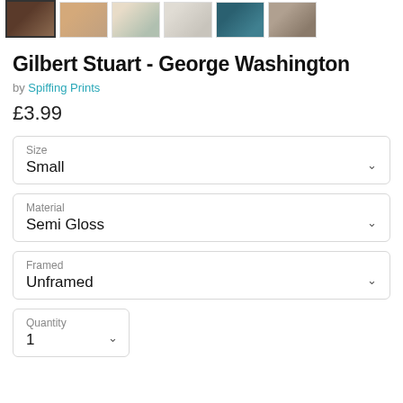[Figure (photo): Row of 6 product thumbnail images showing artwork in room settings]
Gilbert Stuart - George Washington
by Spiffing Prints
£3.99
Size
Small
Material
Semi Gloss
Framed
Unframed
Quantity
1